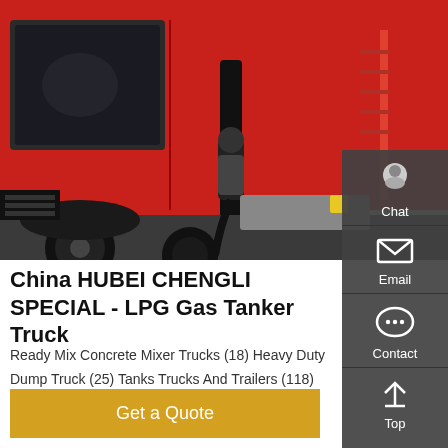[Figure (photo): Close-up photograph of a red truck, showing the cab, engine area, hydraulic components, and part of the cargo body. The truck appears to be a heavy-duty special purpose vehicle (gas tanker/dump truck) with visible wheels, ladders, and mechanical components.]
China HUBEI CHENGLI SPECIAL - LPG Gas Tanker Truck
Ready Mix Concrete Mixer Trucks (18) Heavy Duty Dump Truck (25) Tanks Trucks And Trailers (118) Prime Mover Truck (25)
Get a Quote